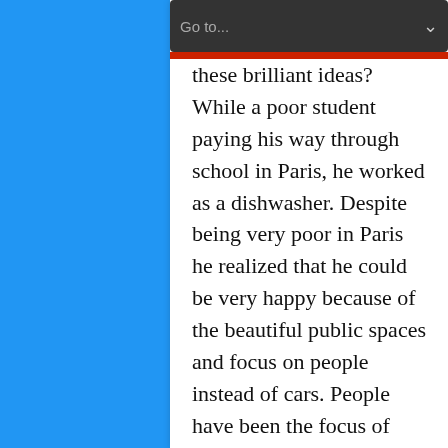Go to...
...where did he get some of these brilliant ideas? While a poor student paying his way through school in Paris, he worked as a dishwasher. Despite being very poor in Paris he realized that he could be very happy because of the beautiful public spaces and focus on people instead of cars. People have been the focus of great cities for 5000 years. It is only in the last eighty or so years that that focus has switched to cars. The...